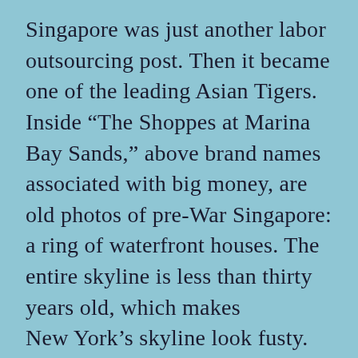Singapore was just another labor outsourcing post. Then it became one of the leading Asian Tigers. Inside “The Shoppes at Marina Bay Sands,” above brand names associated with big money, are old photos of pre-War Singapore: a ring of waterfront houses. The entire skyline is less than thirty years old, which makes New York’s skyline look fusty. Today cheap labor comes from countries such as Vietnam and Cambodia, where prices still are nowhere close to Western. Morgan reckons that in another generation outsourcing will move to Africa. Isn’t it